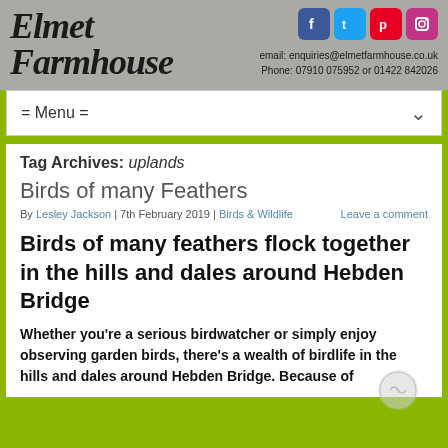Elmet Farmhouse — email: enquiries@elmetfarmhouse.co.uk Phone: 07910 075952 or 01422 842026
= Menu =
Tag Archives: uplands
Birds of many Feathers
By Lesley Jackson | 7th February 2019 | Birds & Wildlife   Leave a comment
Birds of many feathers flock together in the hills and dales around Hebden Bridge
Whether you're a serious birdwatcher or simply enjoy observing garden birds, there's a wealth of birdlife in the hills and dales around Hebden Bridge. Because of